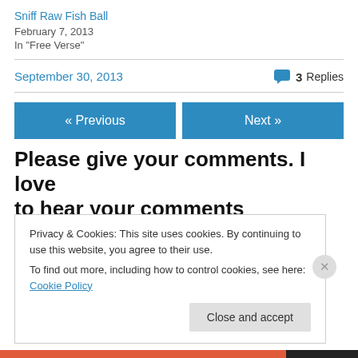Sniff Raw Fish Ball
February 7, 2013
In "Free Verse"
September 30, 2013
3 Replies
« Previous
Next »
Please give your comments. I love to hear your comments
Privacy & Cookies: This site uses cookies. By continuing to use this website, you agree to their use.
To find out more, including how to control cookies, see here: Cookie Policy
Close and accept